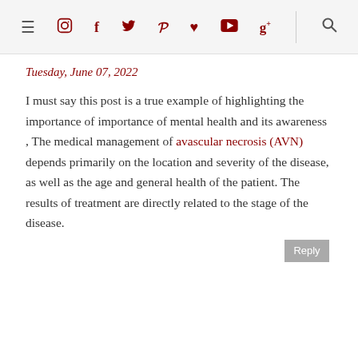≡ [instagram] f [twitter] [pinterest] ♥ [youtube] g+ [search]
Tuesday, June 07, 2022
I must say this post is a true example of highlighting the importance of importance of mental health and its awareness , The medical management of avascular necrosis (AVN) depends primarily on the location and severity of the disease, as well as the age and general health of the patient. The results of treatment are directly related to the stage of the disease.
Reply